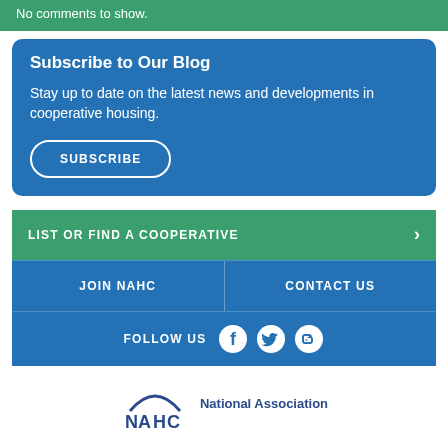No comments to show.
Subscribe to Our Blog
Stay up to date on the latest news and developments in cooperative housing.
SUBSCRIBE
LIST OR FIND A COOPERATIVE
JOIN NAHC
CONTACT US
FOLLOW US
[Figure (logo): NAHC National Association logo with arc above letters NAHC]
National Association